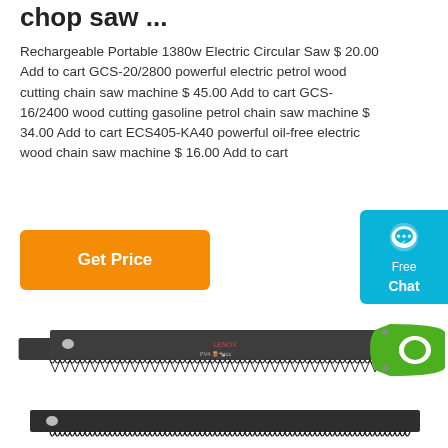chop saw ...
Rechargeable Portable 1380w Electric Circular Saw $ 20.00 Add to cart GCS-20/2800 powerful electric petrol wood cutting chain saw machine $ 45.00 Add to cart GCS-16/2400 wood cutting gasoline petrol chain saw machine $ 34.00 Add to cart ECS405-KA40 powerful oil-free electric wood chain saw machine $ 16.00 Add to cart
[Figure (other): Orange 'Get Price' button]
[Figure (other): Cyan 'Free Chat' button with chat bubble icon]
[Figure (photo): Photo of a hand saw with dark blade and green handle, and a second dark saw blade below it]